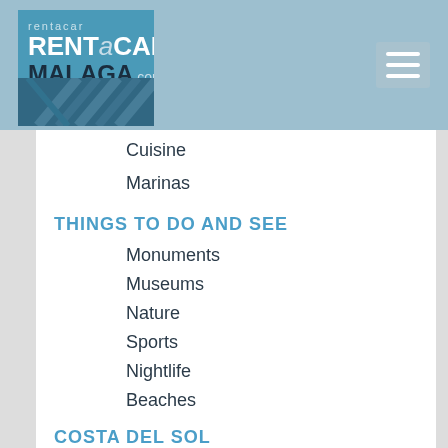[Figure (logo): RentaCAR Malaga.com logo in blue square with road image]
Cuisine
Marinas
THINGS TO DO AND SEE
Monuments
Museums
Nature
Sports
Nightlife
Beaches
COSTA DEL SOL
Casares
Manilva
Estepona